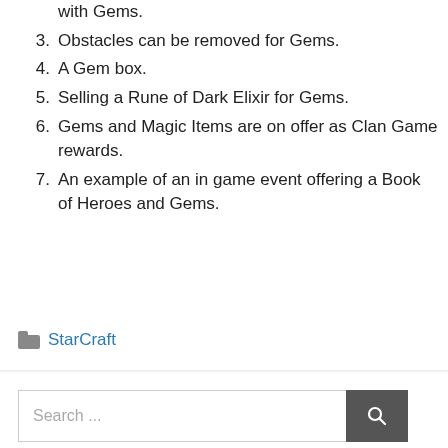with Gems.
3. Obstacles can be removed for Gems.
4. A Gem box.
5. Selling a Rune of Dark Elixir for Gems.
6. Gems and Magic Items are on offer as Clan Game rewards.
7. An example of an in game event offering a Book of Heroes and Gems.
StarCraft
Search ...